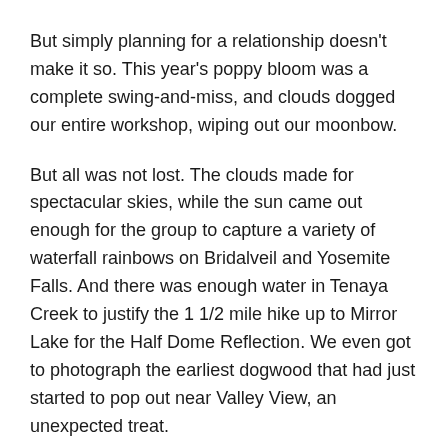But simply planning for a relationship doesn't make it so. This year's poppy bloom was a complete swing-and-miss, and clouds dogged our entire workshop, wiping out our moonbow.
But all was not lost. The clouds made for spectacular skies, while the sun came out enough for the group to capture a variety of waterfall rainbows on Bridalveil and Yosemite Falls. And there was enough water in Tenaya Creek to justify the 1 1/2 mile hike up to Mirror Lake for the Half Dome Reflection. We even got to photograph the earliest dogwood that had just started to pop out near Valley View, an unexpected treat.
And I still had one relationship ace up my sleeve: the moonrise on our final night. As often happens in Yosemite,